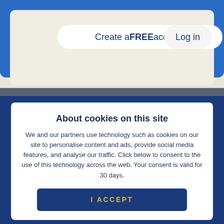[Figure (screenshot): Top portion of a website showing a blue navigation banner with a 'Create a FREE account' button and a 'Log in' button on a beige/light background card area.]
About cookies on this site
We and our partners use technology such as cookies on our site to personalise content and ads, provide social media features, and analyse our traffic. Click below to consent to the use of this technology across the web. Your consent is valid for 30 days.
I ACCEPT